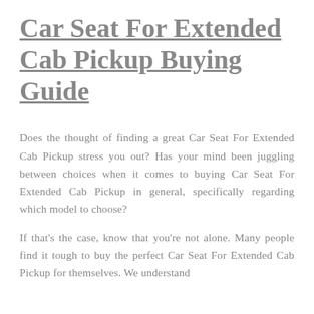Car Seat For Extended Cab Pickup Buying Guide
Does the thought of finding a great Car Seat For Extended Cab Pickup stress you out? Has your mind been juggling between choices when it comes to buying Car Seat For Extended Cab Pickup in general, specifically regarding which model to choose?
If that's the case, know that you're not alone. Many people find it tough to buy the perfect Car Seat For Extended Cab Pickup for themselves. We understand